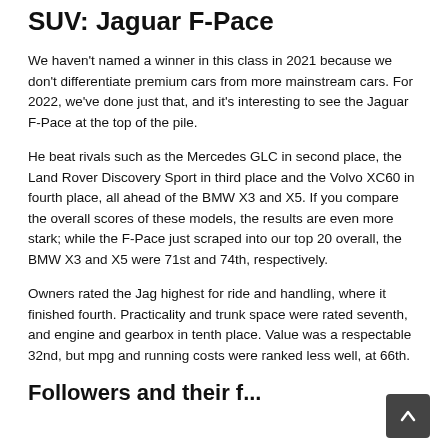SUV: Jaguar F-Pace
We haven't named a winner in this class in 2021 because we don't differentiate premium cars from more mainstream cars. For 2022, we've done just that, and it's interesting to see the Jaguar F-Pace at the top of the pile.
He beat rivals such as the Mercedes GLC in second place, the Land Rover Discovery Sport in third place and the Volvo XC60 in fourth place, all ahead of the BMW X3 and X5. If you compare the overall scores of these models, the results are even more stark; while the F-Pace just scraped into our top 20 overall, the BMW X3 and X5 were 71st and 74th, respectively.
Owners rated the Jag highest for ride and handling, where it finished fourth. Practicality and trunk space were rated seventh, and engine and gearbox in tenth place. Value was a respectable 32nd, but mpg and running costs were ranked less well, at 66th.
Followers and their f...